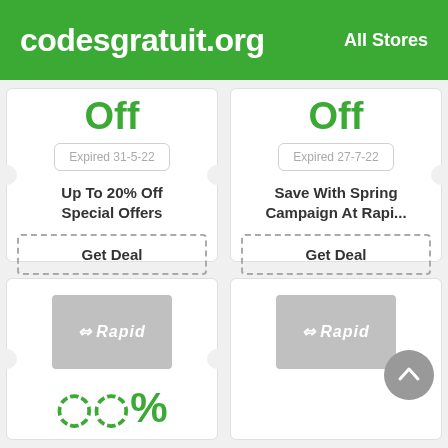codesgratuit.org   All Stores
Off
Expired 31-5-22
Expired 27-7-22
Up To 20% Off Special Offers
Save With Spring Campaign At Rapi...
Get Deal
Get Deal
[Figure (logo): Rapid logo on grey background]
[Figure (logo): Rapid logo on grey background]